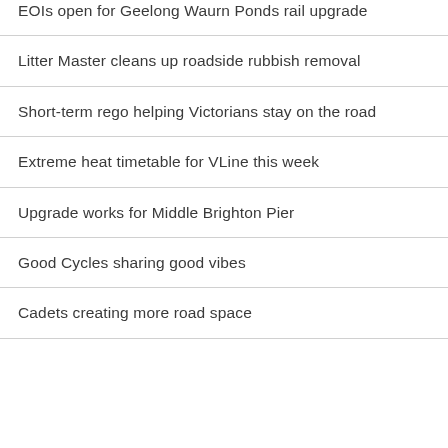EOIs open for Geelong Waurn Ponds rail upgrade
Litter Master cleans up roadside rubbish removal
Short-term rego helping Victorians stay on the road
Extreme heat timetable for VLine this week
Upgrade works for Middle Brighton Pier
Good Cycles sharing good vibes
Cadets creating more road space